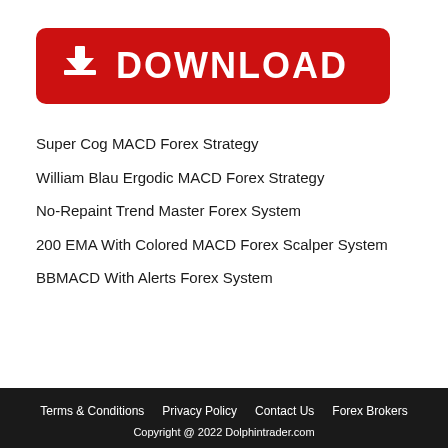[Figure (other): Red download button with white download arrow icon and bold white text 'DOWNLOAD']
Super Cog MACD Forex Strategy
William Blau Ergodic MACD Forex Strategy
No-Repaint Trend Master Forex System
200 EMA With Colored MACD Forex Scalper System
BBMACD With Alerts Forex System
Terms & Conditions   Privacy Policy   Contact Us   Forex Brokers
Copyright @ 2022 Dolphintrader.com